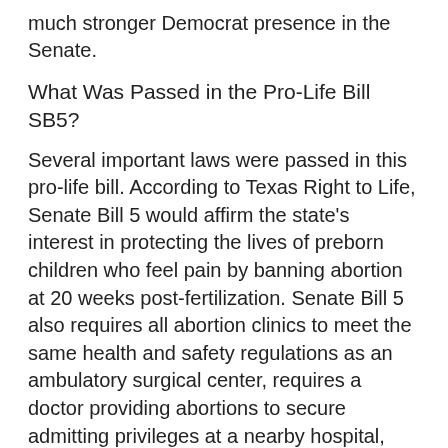much stronger Democrat presence in the Senate.
What Was Passed in the Pro-Life Bill SB5?
Several important laws were passed in this pro-life bill. According to Texas Right to Life, Senate Bill 5 would affirm the state's interest in protecting the lives of preborn children who feel pain by banning abortion at 20 weeks post-fertilization. Senate Bill 5 also requires all abortion clinics to meet the same health and safety regulations as an ambulatory surgical center, requires a doctor providing abortions to secure admitting privileges at a nearby hospital, and lastly, requires a doctor to personally administer the abortion-inducing drugs to the patient.
Family
Pro-Life | SB5 | Texas Legislature | 2013 Texas Legislature | Speaker Straus | David Dewhurst | Rick